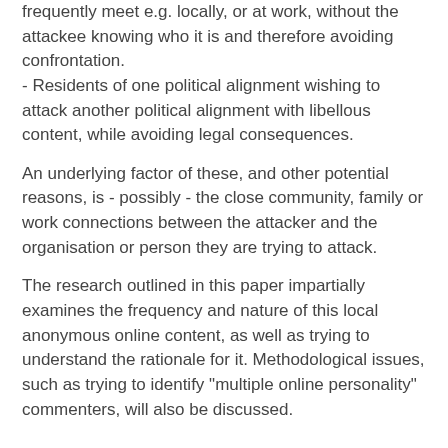frequently meet e.g. locally, or at work, without the attackee knowing who it is and therefore avoiding confrontation.
- Residents of one political alignment wishing to attack another political alignment with libellous content, while avoiding legal consequences.
An underlying factor of these, and other potential reasons, is - possibly - the close community, family or work connections between the attacker and the organisation or person they are trying to attack.
The research outlined in this paper impartially examines the frequency and nature of this local anonymous online content, as well as trying to understand the rationale for it. Methodological issues, such as trying to identify "multiple online personality" commenters, will also be discussed.
Methodology
Stage 1: Examples from five types of online services, where Outer Hebrides residents contribute significant amounts of